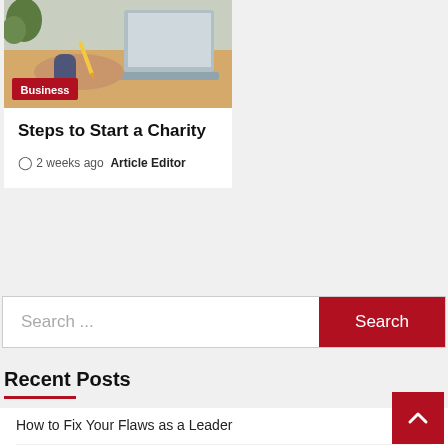[Figure (photo): Woman writing with pencil next to a laptop, with a plant in background; Business category badge overlaid]
Steps to Start a Charity
2 weeks ago  Article Editor
Search ...
Recent Posts
How to Fix Your Flaws as a Leader
How to Become a Professional Travel Journalist
Health Benefits of Taking Multivitamins